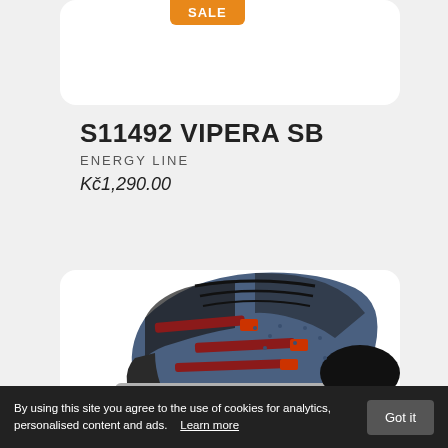[Figure (photo): Orange SALE badge at the top of the product card]
S11492 VIPERA SB
ENERGY LINE
Kč1,290.00
[Figure (photo): Dark blue/denim sneaker with black and red accents and silver metallic sole, shown from a 3/4 angle on a white card background]
By using this site you agree to the use of cookies for analytics, personalised content and ads.   Learn more
Got it